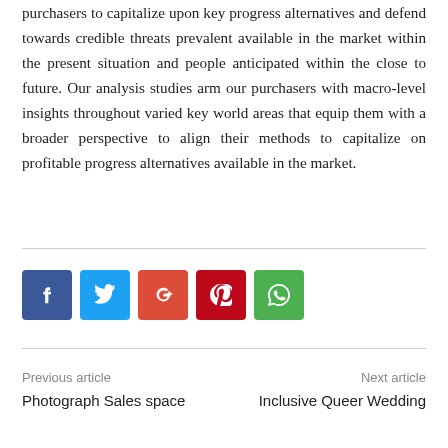purchasers to capitalize upon key progress alternatives and defend towards credible threats prevalent available in the market within the present situation and people anticipated within the close to future. Our analysis studies arm our purchasers with macro-level insights throughout varied key world areas that equip them with a broader perspective to align their methods to capitalize on profitable progress alternatives available in the market.
[Figure (other): Social share buttons: Facebook, Twitter, Google+, Pinterest, WhatsApp]
Previous article
Next article
Photograph Sales space
Inclusive Queer Wedding